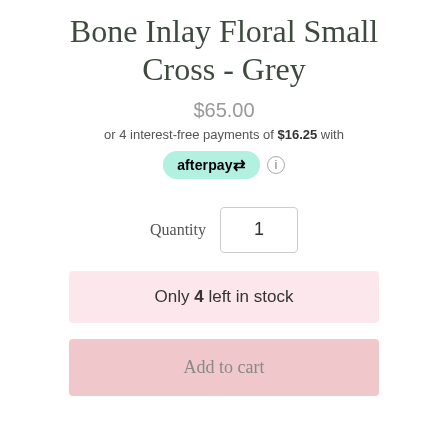Bone Inlay Floral Small Cross - Grey
$65.00
or 4 interest-free payments of $16.25 with afterpay
Quantity 1
Only 4 left in stock
Add to cart